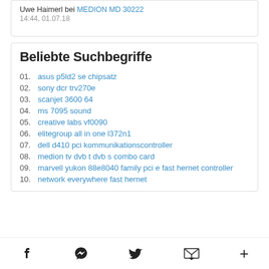Uwe Haimerl bei MEDION MD 30222
14:44, 01.07.18
Beliebte Suchbegriffe
01. asus p5ld2 se chipsatz
02. sony dcr trv270e
03. scanjet 3600 64
04. ms 7095 sound
05. creative labs vf0090
06. elitegroup all in one l372n1
07. dell d410 pci kommunikationscontroller
08. medion tv dvb t dvb s combo card
09. marvell yukon 88e8040 family pci e fast hernet controller
10. network everywhere fast hernet
Social icons: Facebook, WhatsApp, Twitter, Email, More